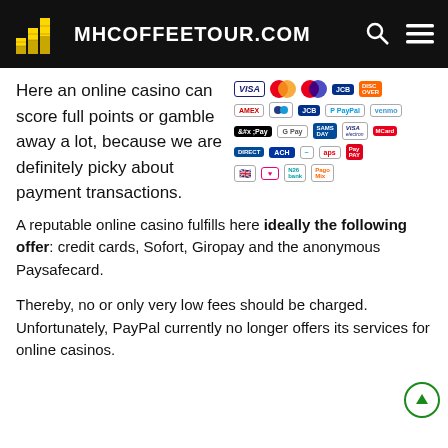MHCOFFEETOUR.COM
[Figure (other): Grid of payment method logos: Visa, Mastercard, Maestro, JCB, Discover, American Express variant, JCB, PayPal, Venmo, Apple Pay, Google Pay, Visa, Mastercard, ACH, debit brand, APS, PayPay, UK flag, pink icon, N26, Paysafecard-like icon]
Here an online casino can score full points or gamble away a lot, because we are definitely picky about payment transactions.
A reputable online casino fulfills here ideally the following offer: credit cards, Sofort, Giropay and the anonymous Paysafecard.
Thereby, no or only very low fees should be charged. Unfortunately, PayPal currently no longer offers its services for online casinos.